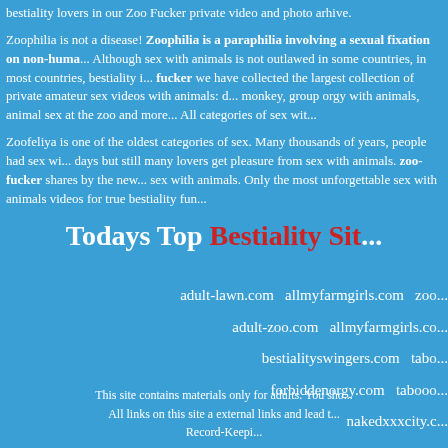bestiality lovers in our Zoo Fucker private video and photo arhive.
Zoophilia is not a disease! Zoophilia is a paraphilia involving a sexual fixation on non-huma... Although sex with animals is not outlawed in some countries, in most countries, bestiality is... fucker we have collected the largest collection of private amateur sex videos with animals: d... monkey, group orgy with animals, animal sex at the zoo and more... All categories of sex wit...
Zoofeliya is one of the oldest categories of sex. Many thousands of years, people had sex wi... days but still many lovers get pleasure from sex with animals. zoo-fucker shares by the new... sex with animals. Only the most unforgettable sex with animals videos for true bestiality fun...
Todays Top Bestiality Sit...
adult-lawn.com   allmyfarmgirls.com   zoo...
adult-zoo.com   allmyfarmgirls.co...
bestialityswingers.com   tabo...
forbiddenorgy.com   tabooo...
nakedxxxcity.c...
This site contains materials only for adults. You sho...
All links on this site a external links and lead t...
Record-Keepi...